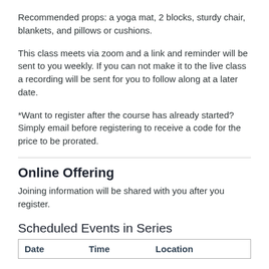Recommended props: a yoga mat, 2 blocks, sturdy chair, blankets, and pillows or cushions.
This class meets via zoom and a link and reminder will be sent to you weekly. If you can not make it to the live class a recording will be sent for you to follow along at a later date.
*Want to register after the course has already started? Simply email before registering to receive a code for the price to be prorated.
Online Offering
Joining information will be shared with you after you register.
Scheduled Events in Series
| Date | Time | Location |
| --- | --- | --- |